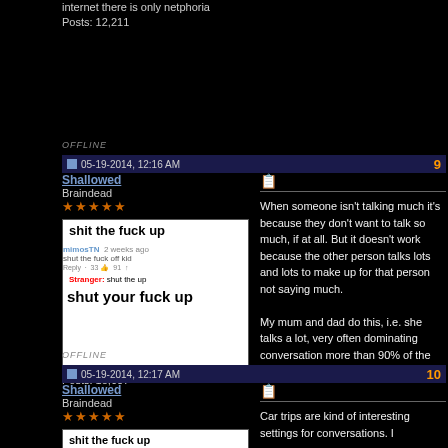internet there is only netphoria
Posts: 12,211
OFFLINE
05-19-2014, 12:16 AM  9
Shallowed
Braindead
★★★★★
[Figure (screenshot): Avatar image showing 'shit the fuck up' meme with text overlay]
Posts: 18,607
When someone isn't talking much it's because they don't want to talk so much, if at all. But it doesn't work because the other person talks lots and lots to make up for that person not saying much.

My mum and dad do this, i.e. she talks a lot, very often dominating conversation more than 90% of the time, and dad is rather quiet.
OFFLINE
05-19-2014, 12:17 AM  10
Shallowed
Braindead
★★★★★
Car trips are kind of interesting settings for conversations. I